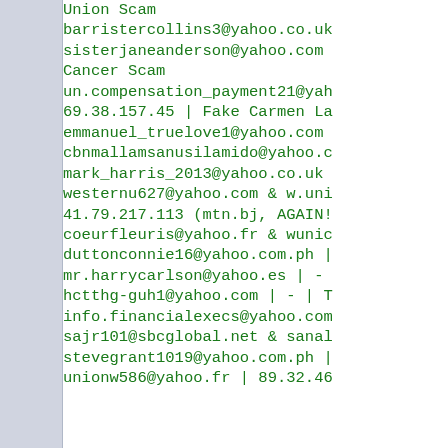Union Scam
barristercollins3@yahoo.co.uk
sisterjaneanderson@yahoo.com
Cancer Scam
un.compensation_payment21@yah...
69.38.157.45 | Fake Carmen La...
emmanuel_truelove1@yahoo.com
cbnmallamsanusilamido@yahoo.c...
mark_harris_2013@yahoo.co.uk
westernu627@yahoo.com & w.uni...
41.79.217.113 (mtn.bj, AGAIN!...
coeurfleuris@yahoo.fr & wunic...
duttonconnie16@yahoo.com.ph |...
mr.harrycarlson@yahoo.es | -...
hctthg-guh1@yahoo.com | - | T...
info.financialexecs@yahoo.com...
sajr101@sbcglobal.net & sanal...
stevegrant1019@yahoo.com.ph |...
unionw586@yahoo.fr | 89.32.46...